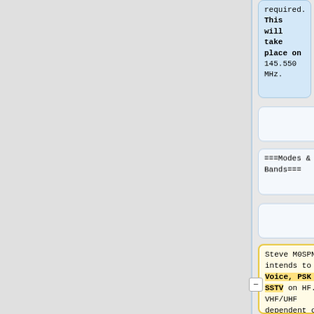required. This will take place on 145.550 MHz.
===Modes & Bands===
===Modes & Bands===
Steve M0SPN intends to run Voice, PSK and SSTV on HF. VHF/UHF dependent on availability of masts and beams.
Steve M0SPN intends to run voice on HF. VHF/UHF dependent on availability of masts and beams.